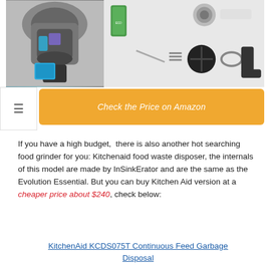[Figure (photo): Product image showing a garbage disposal unit cutaway view on the left, and various parts/accessories on the right including a bottle of cleaner, drain components, flange, tubes, impeller plate, clamp, and elbow pipe.]
[Figure (other): Navigation menu hamburger icon (three horizontal lines)]
[Figure (other): Orange button with text 'Check the Price on Amazon']
If you have a high budget,  there is also another hot searching food grinder for you: Kitchenaid food waste disposer, the internals of this model are made by InSinkErator and are the same as the Evolution Essential. But you can buy Kitchen Aid version at a cheaper price about $240, check below:
KitchenAid KCDS075T Continuous Feed Garbage Disposal